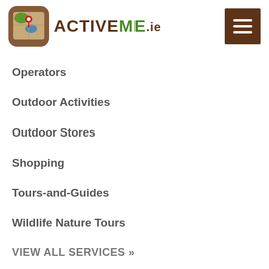[Figure (logo): ActiveMe.ie logo with map icon and brand name]
Operators
Outdoor Activities
Outdoor Stores
Shopping
Tours-and-Guides
Wildlife Nature Tours
VIEW ALL SERVICES »
OTHER INFORMATION
About